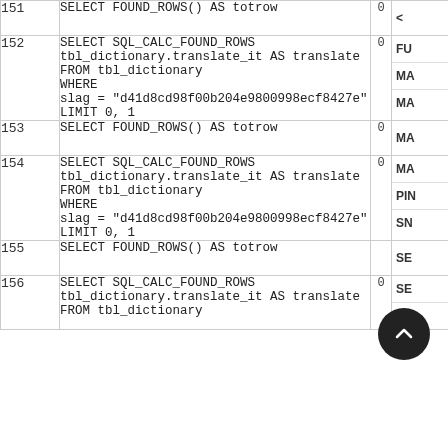| # | SQL | C | Label |
| --- | --- | --- | --- |
| 151 | SELECT FOUND_ROWS() AS totrow | 0 | < |
| 152 | SELECT SQL_CALC_FOUND_ROWS
tbl_dictionary.translate_it AS translate
FROM tbl_dictionary
WHERE
slag = "d41d8cd98f00b204e9800998ecf8427e"
LIMIT 0, 1 | 0 | FU
MA
MA |
| 153 | SELECT FOUND_ROWS() AS totrow | 0 | MA |
| 154 | SELECT SQL_CALC_FOUND_ROWS
tbl_dictionary.translate_it AS translate
FROM tbl_dictionary
WHERE
slag = "d41d8cd98f00b204e9800998ecf8427e"
LIMIT 0, 1 | 0 | MA
PIN
SN |
| 155 | SELECT FOUND_ROWS() AS totrow |  | SE |
| 156 | SELECT SQL_CALC_FOUND_ROWS
tbl_dictionary.translate_it AS translate
FROM tbl_dictionary | 0 | SE
MI |